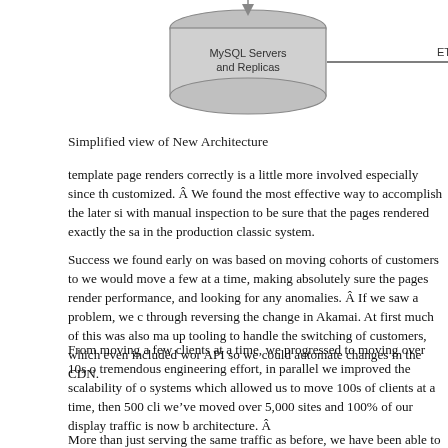[Figure (schematic): Architecture diagram showing MySQL Servers and Replicas connected via ETL arrow to Emo Cassandra Ring. Arrow pointing down into MySQL cylinder from top, and arrow pointing down into Cassandra cylinder from top.]
Simplified view of New Architecture
template page renders correctly is a little more involved especially since th customized. Â We found the most effective way to accomplish the later si with manual inspection to be sure that the pages rendered exactly the sa in the production classic system.
Success we found early on was based on moving cohorts of customers to we would move a few at a time, making absolutely sure the pages render performance, and looking for any anomalies. Â If we saw a problem, we c through reversing the change in Akamai. At first much of this was also ma up tooling to handle the switching of customers, which even included wor API so we could automate changes in the CDN.
From moving a few clients at a time, we progressed to moving over 10s o tremendous engineering effort, in parallel we improved the scalability of o systems which allowed us to move 100s of clients at a time, then 500 cli weâ€™ve moved over 5,000 sites and 100% of our display traffic is now b architecture. Â
More than just serving the same traffic as before, we have been able to m